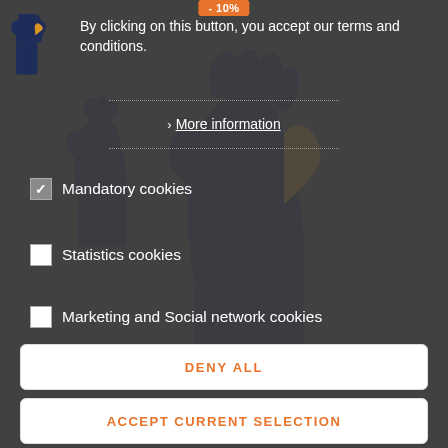[Figure (screenshot): Cookie consent modal overlay on an e-commerce page selling protective gloves. Background shows blue and orange welding/work gloves. The modal has a dark semi-transparent overlay.]
By clicking on this button, you accept our terms and conditions.
› More information
☑ Mandatory cookies
☐ Statistics cookies
☐ Marketing and Social network cookies
DENY ALL
ACCEPT CURRENT SELECTION
ACCEPT ALL
- 10%